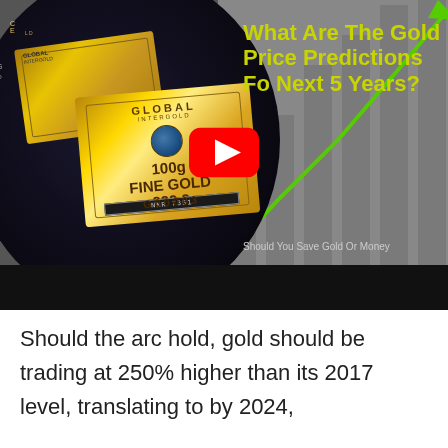[Figure (screenshot): YouTube video thumbnail showing gold bars on left with dark circular background, and right side showing a gray background with upward trending green arrow chart. Title text reads 'What Are The Gold Price Predictions For Next 5 Years?' in yellow-green text. A red YouTube play button is centered. Subtitle reads 'Should You Save Gold Or Money']
Should the arc hold, gold should be trading at 250% higher than its 2017 level, translating to by 2024,